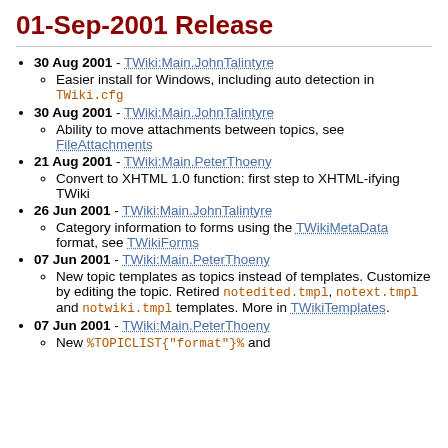01-Sep-2001 Release
30 Aug 2001 - TWiki:Main.JohnTalintyre
Easier install for Windows, including auto detection in TWiki.cfg
30 Aug 2001 - TWiki:Main.JohnTalintyre
Ability to move attachments between topics, see FileAttachments
21 Aug 2001 - TWiki:Main.PeterThoeny
Convert to XHTML 1.0 function: first step to XHTML-ifying TWiki
26 Jun 2001 - TWiki:Main.JohnTalintyre
Category information to forms using the TWikiMetaData format, see TWikiForms
07 Jun 2001 - TWiki:Main.PeterThoeny
New topic templates as topics instead of templates. Customize by editing the topic. Retired notedited.tmpl, notext.tmpl and notwiki.tmpl templates. More in TWikiTemplates.
07 Jun 2001 - TWiki:Main.PeterThoeny
New %TOPICLIST{"format"}% and